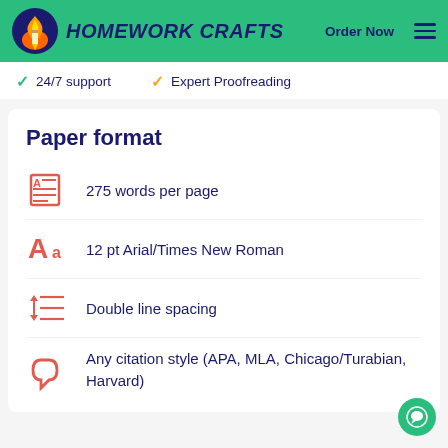HOMEWORK CRAFTS | Order Now
24/7 support
Expert Proofreading
Paper format
275 words per page
12 pt Arial/Times New Roman
Double line spacing
Any citation style (APA, MLA, Chicago/Turabian, Harvard)